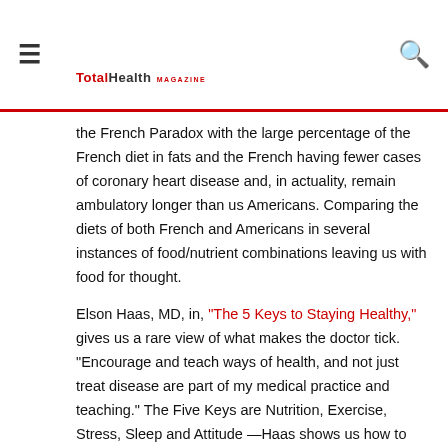☰   TotalHealth MAGAZINE   🔍
the French Paradox with the large percentage of the French diet in fats and the French having fewer cases of coronary heart disease and, in actuality, remain ambulatory longer than us Americans. Comparing the diets of both French and Americans in several instances of food/nutrient combinations leaving us with food for thought.
Elson Haas, MD, in, "The 5 Keys to Staying Healthy," gives us a rare view of what makes the doctor tick. "Encourage and teach ways of health, and not just treat disease are part of my medical practice and teaching." The Five Keys are Nutrition, Exercise, Stress, Sleep and Attitude —Haas shows us how to use this simple and practical guide for taking our health care into our own hands on a day-to-day basis.
Hyla Cass, MD, and Mikayla Kemp, BS, contribute an overview "Cannabis and Its Effects on Skin Conditions" of Dr. Phillip Blair, MD, Ret. COL, presentation at the recent Cannabis…